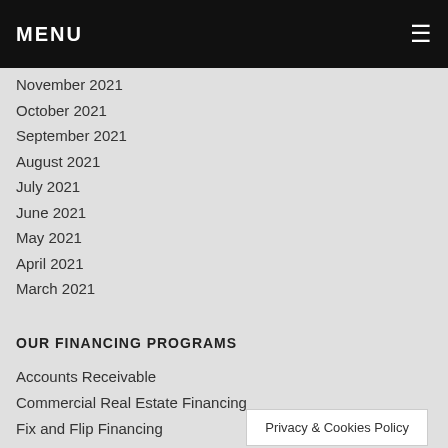MENU
November 2021
October 2021
September 2021
August 2021
July 2021
June 2021
May 2021
April 2021
March 2021
OUR FINANCING PROGRAMS
Accounts Receivable
Commercial Real Estate Financing
Fix and Flip Financing
Equipment Financing
Franchise Financing
Privacy & Cookies Policy